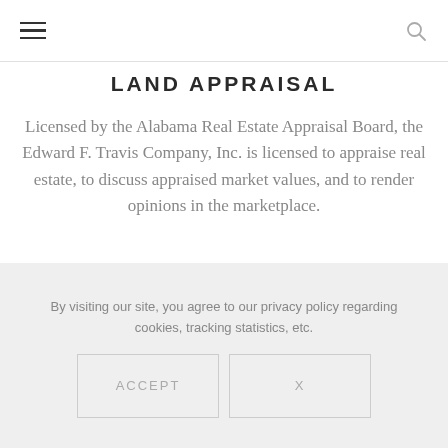LAND APPRAISAL
Licensed by the Alabama Real Estate Appraisal Board, the Edward F. Travis Company, Inc. is licensed to appraise real estate, to discuss appraised market values, and to render opinions in the marketplace.
By visiting our site, you agree to our privacy policy regarding cookies, tracking statistics, etc.